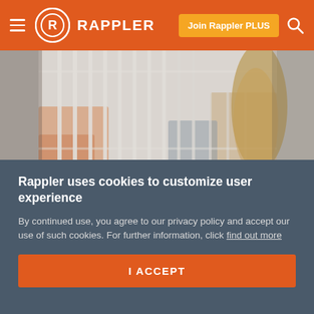RAPPLER — Join Rappler PLUS
[Figure (photo): Blurred photo of what appears to be prison bars or cage bars with blurred background showing colorful items and a person's braided hair on the right side]
Rappler uses cookies to customize user experience
By continued use, you agree to our privacy policy and accept our use of such cookies. For further information, click find out more
I ACCEPT